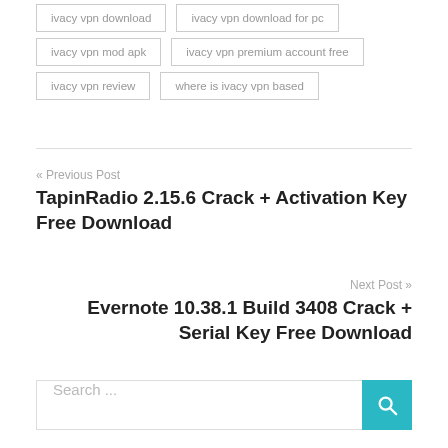ivacy vpn download
ivacy vpn download for pc
ivacy vpn mod apk
ivacy vpn premium account free
ivacy vpn review
where is ivacy vpn based
« Previous Post
TapinRadio 2.15.6 Crack + Activation Key Free Download
Next Post »
Evernote 10.38.1 Build 3408 Crack + Serial Key Free Download
Search ...